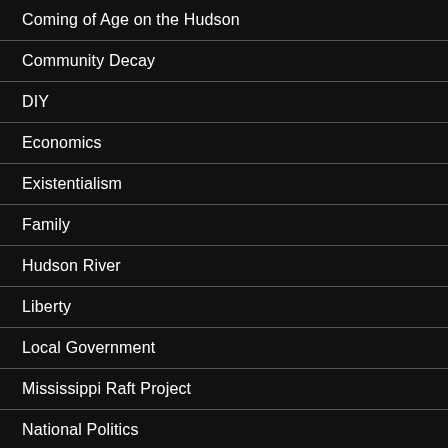Coming of Age on the Hudson
Community Decay
DIY
Economics
Existentialism
Family
Hudson River
Liberty
Local Government
Mississippi Raft Project
National Politics
Political Theory
Republicanism